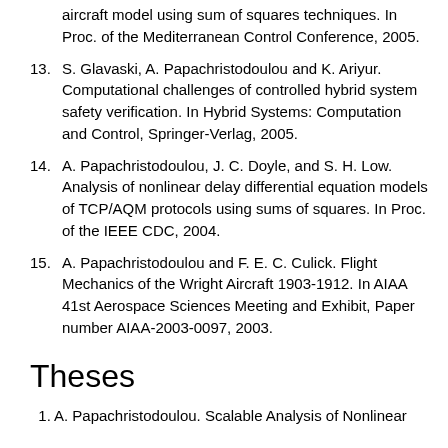aircraft model using sum of squares techniques. In Proc. of the Mediterranean Control Conference, 2005.
13. S. Glavaski, A. Papachristodoulou and K. Ariyur. Computational challenges of controlled hybrid system safety verification. In Hybrid Systems: Computation and Control, Springer-Verlag, 2005.
14. A. Papachristodoulou, J. C. Doyle, and S. H. Low. Analysis of nonlinear delay differential equation models of TCP/AQM protocols using sums of squares. In Proc. of the IEEE CDC, 2004.
15. A. Papachristodoulou and F. E. C. Culick. Flight Mechanics of the Wright Aircraft 1903-1912. In AIAA 41st Aerospace Sciences Meeting and Exhibit, Paper number AIAA-2003-0097, 2003.
Theses
1. A. Papachristodoulou. Scalable Analysis of Nonlinear